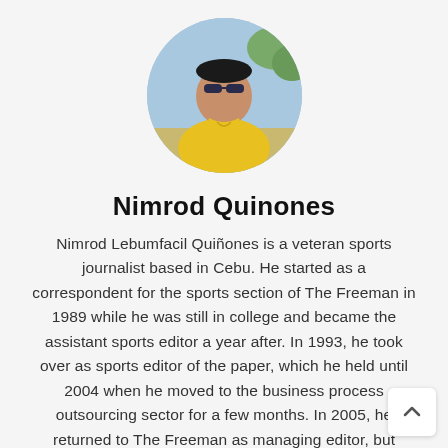[Figure (photo): Circular profile photo of Nimrod Quinones, a man wearing a yellow polo shirt and sunglasses, outdoors with trees in background]
Nimrod Quinones
Nimrod Lebumfacil Quiñones is a veteran sports journalist based in Cebu. He started as a correspondent for the sports section of The Freeman in 1989 while he was still in college and became the assistant sports editor a year after. In 1993, he took over as sports editor of the paper, which he held until 2004 when he moved to the business process outsourcing sector for a few months. In 2005, he returned to The Freeman as managing editor, but continued to write a sports column until he moved to Alta Vista Golf and Country Club to serve as its general manager in September 1,